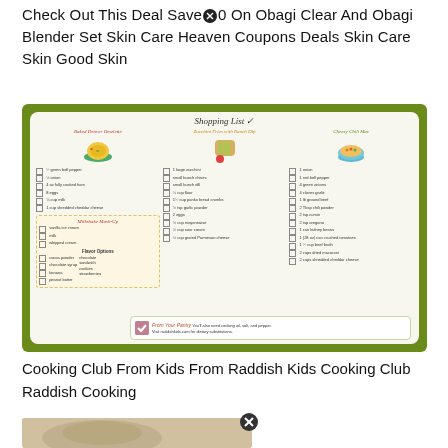Check Out This Deal Save 20 On Obagi Clear And Obagi Blender Set Skin Care Heaven Coupons Deals Skin Care Skin Good Skin
[Figure (photo): A photo of a Raddish Kids cooking club shopping list placemat/card showing three recipe columns: Baked Denver Omelette, Zucchini Fries with Ranch Dip, and Cheesy Chili Mac, with illustrated food images, ingredient checklists, a Milkshake Mash-Up section, and a From Your Pantry note at the bottom.]
Cooking Club From Kids From Raddish Kids Cooking Club Raddish Cooking